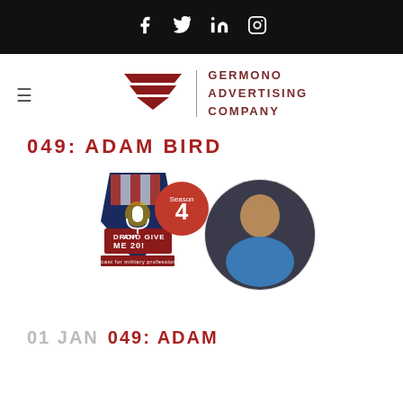[Figure (other): Black top bar with social media icons: Facebook, Twitter, LinkedIn, Instagram]
[Figure (logo): Germono Advertising Company logo with red chevron/arrow graphic and vertical divider, company name in red bold letters]
049: ADAM BIRD
[Figure (illustration): Drop and Give Me 20 podcast logo badge with Season 4 red circle badge, alongside circular photo of a woman in blue top]
01 JAN 049: ADAM